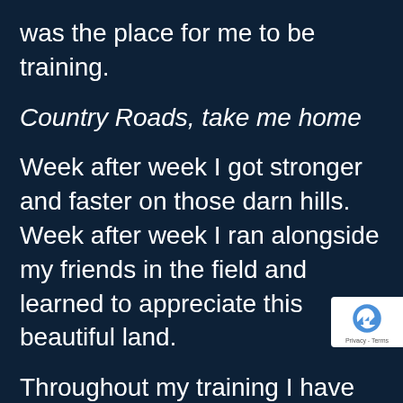was the place for me to be training.
Country Roads, take me home
Week after week I got stronger and faster on those darn hills. Week after week I ran alongside my friends in the field and learned to appreciate this beautiful land.
Throughout my training I have seen some of the most striking sunrises and sunsets; I have ru through thunderstorms (literally)